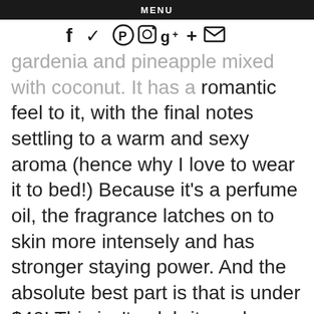MENU
f ✓ ⊕ ☐ g⁺ + ✉
gardenia and pineapple mixed with coconut. It has a romantic feel to it, with the final notes settling to a warm and sexy aroma (hence why I love to wear it to bed!) Because it's a perfume oil, the fragrance latches on to skin more intensely and has stronger staying power. And the absolute best part is that is under $40! This isn't celebrity makeup artist Rosie